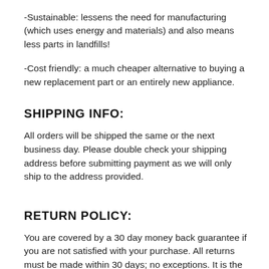-Sustainable: lessens the need for manufacturing (which uses energy and materials) and also means less parts in landfills!
-Cost friendly: a much cheaper alternative to buying a new replacement part or an entirely new appliance.
SHIPPING INFO:
All orders will be shipped the same or the next business day. Please double check your shipping address before submitting payment as we will only ship to the address provided.
RETURN POLICY:
You are covered by a 30 day money back guarantee if you are not satisfied with your purchase. All returns must be made within 30 days; no exceptions. It is the customer's responsibility